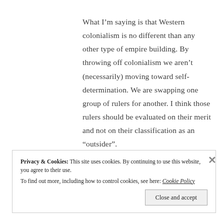What I'm saying is that Western colonialism is no different than any other type of empire building. By throwing off colonialism we aren't (necessarily) moving toward self-determination. We are swapping one group of rulers for another. I think those rulers should be evaluated on their merit and not on their classification as an “outsider”.
Privacy & Cookies: This site uses cookies. By continuing to use this website, you agree to their use. To find out more, including how to control cookies, see here: Cookie Policy